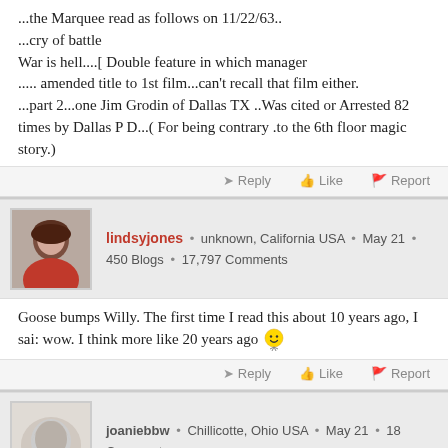...the Marquee read as follows on 11/22/63..
...cry of battle
War is hell....[ Double feature in which manager
..... amended title to 1st film...can't recall that film either.
...part 2...one Jim Grodin of Dallas TX ..Was cited or
Arrested 82 times by Dallas P D...( For being contrary
.to the 6th floor magic story.)
Reply  Like  Report
lindsyjones • unknown, California USA • May 21 • 450 Blogs • 17,797 Comments
Goose bumps Willy. The first time I read this about 10 years ago, I sai: wow. I think more like 20 years ago 😊
Reply  Like  Report
joaniebbw • Chillicotte, Ohio USA • May 21 • 18 Comments